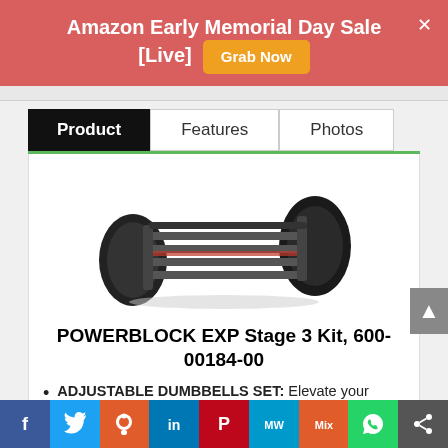Amazon Early Memorial Day Sale [Live]  Grab Now
Product | Features | Photos
[Figure (photo): Photo of PowerBlock EXP adjustable dumbbell set - black metal selectorized dumbbells]
POWERBLOCK EXP Stage 3 Kit, 600-00184-00
ADJUSTABLE DUMBBELLS SET: Elevate your fitness and performance with strength-training equipment that adjusts with you. This PowerBlock Expansion Kit provides the option to take your PowerBlock Expandable set up to 90
f  Twitter  Reddit  in  Pinterest  MW  Mix  WhatsApp  Share